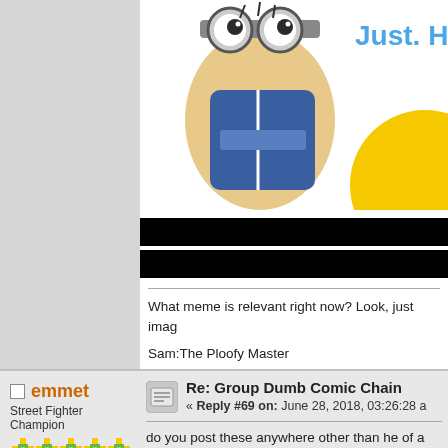[Figure (illustration): Partial view of a cartoon minion/smiley face character and yellow circle, with text 'Just. H' partially visible in blue]
[Figure (other): Two black redacted bars]
What meme is relevant right now? Look, just imag
Sam:The Ploofy Master
emmet
Street Fighter Champion
[Figure (photo): Avatar image showing blue lightning/electricity on dark background]
Posts: 10618
Re: Group Dumb Comic Chain
« Reply #69 on: June 28, 2018, 03:26:28 a
do you post these anywhere other than he of a waste!
No way dude, you're trolling me.